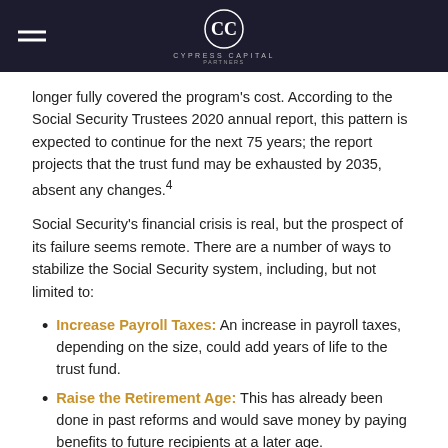Cypress Capital
longer fully covered the program's cost. According to the Social Security Trustees 2020 annual report, this pattern is expected to continue for the next 75 years; the report projects that the trust fund may be exhausted by 2035, absent any changes.⁴
Social Security's financial crisis is real, but the prospect of its failure seems remote. There are a number of ways to stabilize the Social Security system, including, but not limited to:
Increase Payroll Taxes: An increase in payroll taxes, depending on the size, could add years of life to the trust fund.
Raise the Retirement Age: This has already been done in past reforms and would save money by paying benefits to future recipients at a later age.
Tax Benefits of Higher Earners: By taxing Social